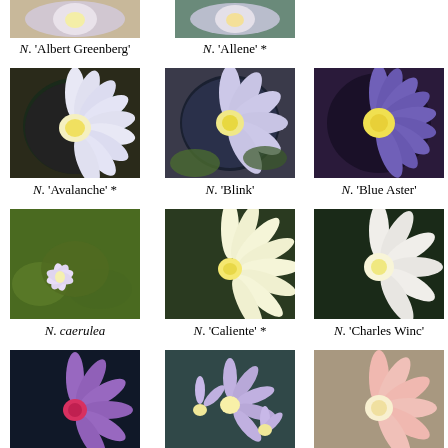[Figure (photo): Nymphaea 'Albert Greenberg' flower photo (partially visible at top)]
N. 'Albert Greenberg'
[Figure (photo): Nymphaea 'Allene' flower photo (partially visible at top)]
N. 'Allene' *
[Figure (photo): Nymphaea 'Avalanche' white flower photo]
N. 'Avalanche' *
[Figure (photo): Nymphaea 'Blink' pale purple flower photo]
N. 'Blink'
[Figure (photo): Nymphaea 'Blue Aster' purple flower photo]
N. 'Blue Aster'
[Figure (photo): Nymphaea caerulea flower photo in pond]
N. caerulea
[Figure (photo): Nymphaea 'Caliente' cream/yellow flower photo]
N. 'Caliente' *
[Figure (photo): Nymphaea 'Charles Winch' white flower photo]
N. 'Charles Winc'
[Figure (photo): Nymphaea colorata purple flower photo]
N. colorata
[Figure (photo): Nymphaea 'Daubenyana' purple multi-flower photo]
N. 'Daubenyana'
(N. 'Dauben')
[Figure (photo): Nymphaea 'Dayglow' pink/peach flower photo]
N. 'Dayglow' *
[Figure (photo): Partial flower photo at bottom row col 1]
[Figure (photo): Partial flower photo at bottom row col 2]
[Figure (photo): Partial flower photo at bottom row col 3]